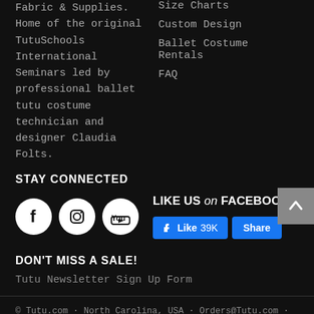Fabric & Supplies. Home of the original TutuSchools International Seminars led by professional ballet tutu costume technician and designer Claudia Folts.
Size Charts
Custom Design
Ballet Costume Rentals
FAQ
STAY CONNECTED
[Figure (other): Social media icons: Facebook, Instagram, YouTube circles; Facebook Like (39K) and Share buttons; LIKE US on FACEBOOK text]
DON'T MISS A SALE!
Tutu Newsletter Sign Up Form
© Tutu.com · North Carolina, USA · Orders@Tutu.com · 1 (704) 519-4773